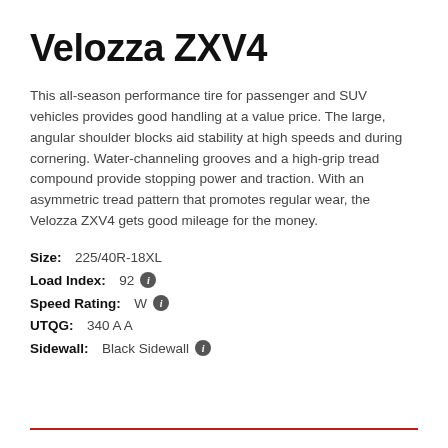Velozza ZXV4
This all-season performance tire for passenger and SUV vehicles provides good handling at a value price. The large, angular shoulder blocks aid stability at high speeds and during cornering. Water-channeling grooves and a high-grip tread compound provide stopping power and traction. With an asymmetric tread pattern that promotes regular wear, the Velozza ZXV4 gets good mileage for the money.
Size: 225/40R-18XL
Load Index: 92
Speed Rating: W
UTQG: 340 A A
Sidewall: Black Sidewall